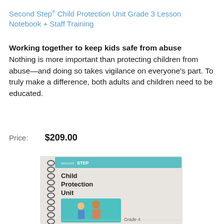Second Step® Child Protection Unit Grade 3 Lesson Notebook + Staff Training
Working together to keep kids safe from abuse Nothing is more important than protecting children from abuse—and doing so takes vigilance on everyone's part. To truly make a difference, both adults and children need to be educated.
Price:  $209.00
[Figure (photo): Spiral-bound Second Step Child Protection Unit Grade 4 lesson notebook with illustrated cover showing an adult and child, teal accent band at top with 'secondSTEP' branding]